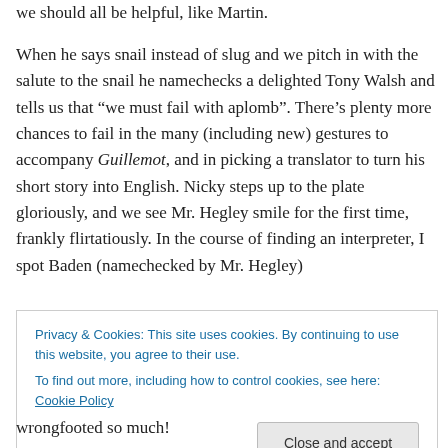we should all be helpful, like Martin.
When he says snail instead of slug and we pitch in with the salute to the snail he namechecks a delighted Tony Walsh and tells us that “we must fail with aplomb”. There’s plenty more chances to fail in the many (including new) gestures to accompany Guillemot, and in picking a translator to turn his short story into English. Nicky steps up to the plate gloriously, and we see Mr. Hegley smile for the first time, frankly flirtatiously. In the course of finding an interpreter, I spot Baden (namechecked by Mr. Hegley)
Privacy & Cookies: This site uses cookies. By continuing to use this website, you agree to their use.
To find out more, including how to control cookies, see here: Cookie Policy
wrongfooted so much!